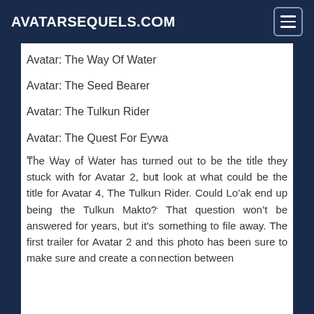AVATARSEQUELS.COM
Avatar: The Way Of Water
Avatar: The Seed Bearer
Avatar: The Tulkun Rider
Avatar: The Quest For Eywa
The Way of Water has turned out to be the title they stuck with for Avatar 2, but look at what could be the title for Avatar 4, The Tulkun Rider. Could Lo’ak end up being the Tulkun Makto? That question won’t be answered for years, but it’s something to file away. The first trailer for Avatar 2 and this photo has been sure to make sure and create a connection between